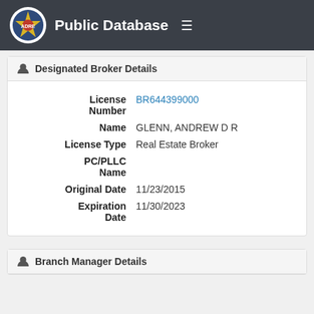Public Database
Designated Broker Details
| Field | Value |
| --- | --- |
| License Number | BR644399000 |
| Name | GLENN, ANDREW D R |
| License Type | Real Estate Broker |
| PC/PLLC Name |  |
| Original Date | 11/23/2015 |
| Expiration Date | 11/30/2023 |
Branch Manager Details